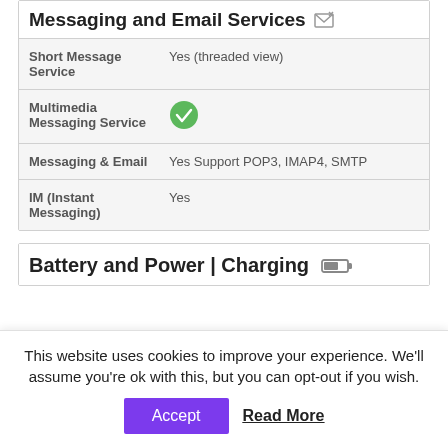Messaging and Email Services
| Feature | Detail |
| --- | --- |
| Short Message Service | Yes (threaded view) |
| Multimedia Messaging Service | ✓ |
| Messaging & Email | Yes Support POP3, IMAP4, SMTP |
| IM (Instant Messaging) | Yes |
Battery and Power | Charging
This website uses cookies to improve your experience. We'll assume you're ok with this, but you can opt-out if you wish.